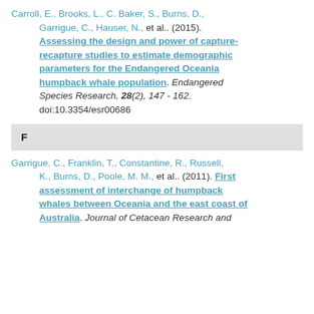Carroll, E., Brooks, L., C. Baker, S., Burns, D., Garrigue, C., Hauser, N., et al.. (2015). Assessing the design and power of capture-recapture studies to estimate demographic parameters for the Endangered Oceania humpback whale population. Endangered Species Research, 28(2), 147 - 162. doi:10.3354/esr00686
F
Garrigue, C., Franklin, T., Constantine, R., Russell, K., Burns, D., Poole, M. M., et al.. (2011). First assessment of interchange of humpback whales between Oceania and the east coast of Australia. Journal of Cetacean Research and